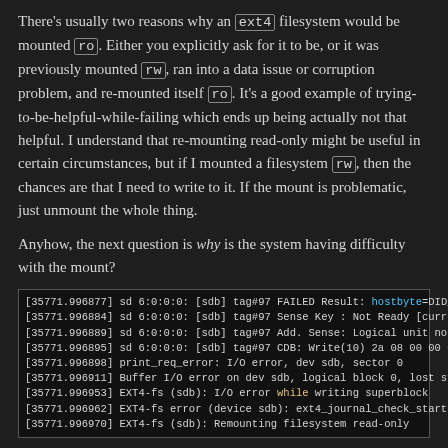There's usually two reasons why an ext4 filesystem would be mounted ro. Either you explicitly ask for it to be, or it was previously mounted rw, ran into a data issue or corruption problem, and re-mounted itself ro. It's a good example of trying-to-be-helpful-while-failing which ends up being actually not that helpful. I understand that re-mounting read-only might be useful in certain circumstances, but if I mounted a filesystem rw, then the chances are that I need to write to it. If the mount is problematic, just unmount the whole thing.
Anyhow, the next question is why is the system having difficulty with the mount?
[Figure (screenshot): Kernel log output showing disk I/O errors for device sdb, including FAILED Result hostbyte=DID_, Sense Key Not Ready, Logical unit not ready, CDB Write(10), I/O error dev sdb sector 0, Buffer I/O error logical block 0, EXT4-fs I/O error while writing superblock, EXT4-fs error ext4_journal_check_start, EXT4-fs Remounting filesystem read-only]